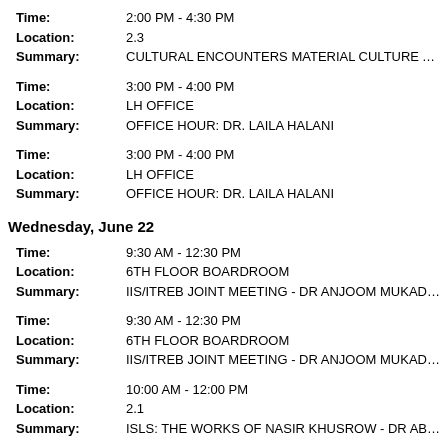Time: 2:00 PM - 4:30 PM | Location: 2.3 | Summary: CULTURAL ENCOUNTERS MATERIAL CULTURE AND NARRATI
Time: 3:00 PM - 4:00 PM | Location: LH OFFICE | Summary: OFFICE HOUR: DR. LAILA HALANI
Time: 3:00 PM - 4:00 PM | Location: LH OFFICE | Summary: OFFICE HOUR: DR. LAILA HALANI
Wednesday, June 22
Time: 9:30 AM - 12:30 PM | Location: 6TH FLOOR BOARDROOM | Summary: IIS/ITREB JOINT MEETING - DR ANJOOM MUKADAM - STUDEN
Time: 9:30 AM - 12:30 PM | Location: 6TH FLOOR BOARDROOM | Summary: IIS/ITREB JOINT MEETING - DR ANJOOM MUKADAM - STUDEN
Time: 10:00 AM - 12:00 PM | Location: 2.1 | Summary: ISLS: THE WORKS OF NASIR KHUSROW - DR ABDULMAMAD I
Time: 1:00 PM - 2:00 PM | Location: 2.1 | Summary: RESEARCH METHODS: CONDUCTING A CASE STUDY - ZAMIR
Time: 2:00 PM - 5:00 PM | Location: 2.1